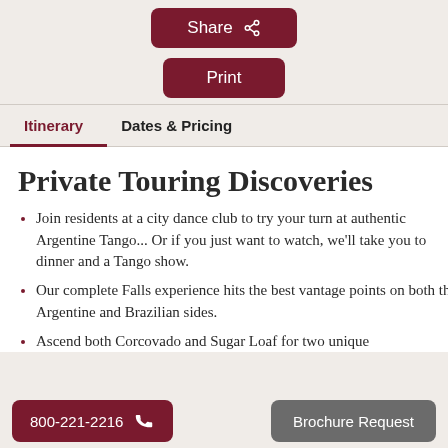[Figure (screenshot): Share button with share icon, dark red rounded rectangle]
[Figure (screenshot): Print button, dark red rounded rectangle]
Itinerary   Dates & Pricing
Private Touring Discoveries
Join residents at a city dance club to try your turn at authentic Argentine Tango... Or if you just want to watch, we'll take you to dinner and a Tango show.
Our complete Falls experience hits the best vantage points on both the Argentine and Brazilian sides.
Ascend both Corcovado and Sugar Loaf for two unique
[Figure (screenshot): 800-221-2216 phone button, dark red rounded rectangle]
[Figure (screenshot): Brochure Request button, grey rounded rectangle]